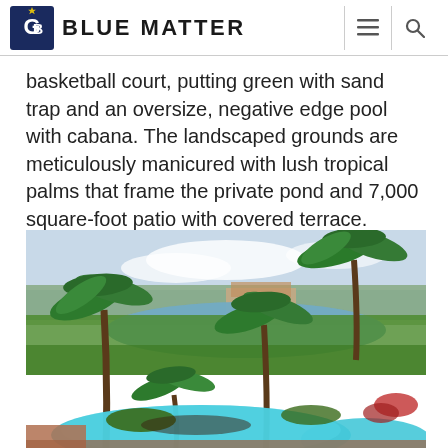Blue Matter
basketball court, putting green with sand trap and an oversize, negative edge pool with cabana. The landscaped grounds are meticulously manicured with lush tropical palms that frame the private pond and 7,000 square-foot patio with covered terrace.
[Figure (photo): Outdoor pool area with tropical palm trees, a pond visible in the background, and lush green landscaping. A large irregularly-shaped pool with bright turquoise water is visible in the foreground, surrounded by a terracotta paver deck.]